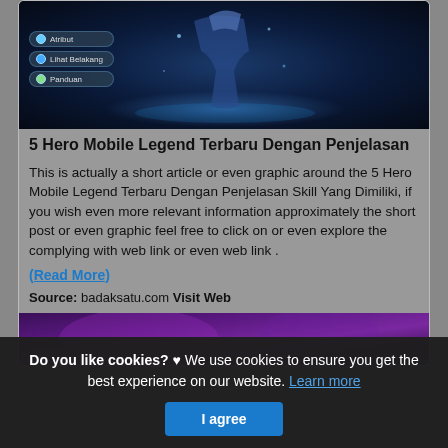[Figure (screenshot): Mobile Legends game screenshot showing a hero character with blue glow effect, with menu items: Atribut, Lihat Belakang, Panduan]
5 Hero Mobile Legend Terbaru Dengan Penjelasan
This is actually a short article or even graphic around the 5 Hero Mobile Legend Terbaru Dengan Penjelasan Skill Yang Dimiliki, if you wish even more relevant information approximately the short post or even graphic feel free to click on or even explore the complying with web link or even web link .
(Read More)
Source: badaksatu.com Visit Web
[Figure (screenshot): Partial view of a second card showing a purple-toned game character image]
Do you like cookies? ♥ We use cookies to ensure you get the best experience on our website. Learn more I agree